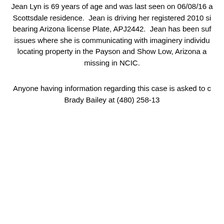Jean Lyn is 69 years of age and was last seen on 06/08/16 at her Scottsdale residence. Jean is driving her registered 2010 silver vehicle bearing Arizona license Plate, APJ2442. Jean has been suffering from issues where she is communicating with imaginery individuals and locating property in the Payson and Show Low, Arizona areas. Jean is missing in NCIC.
Anyone having information regarding this case is asked to contact Brady Bailey at (480) 258-13...
| Field | Value |
| --- | --- |
| Name: | Jean Lyn |
| DOB / Age: | 11/22/1976 |
| Sex: | F |
| Race: | White / Caucasian |
| Height: | 5'05" |
| Weight: | 110 |
| Eyes: | Brown |
| Hair: | White |